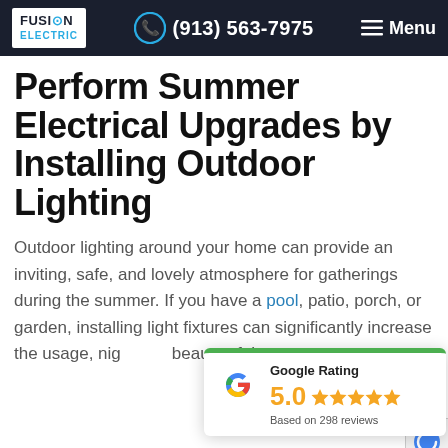Fusion Electric | (913) 563-7975 | Menu
Perform Summer Electrical Upgrades by Installing Outdoor Lighting
Outdoor lighting around your home can provide an inviting, safe, and lovely atmosphere for gatherings during the summer. If you have a pool, patio, porch, or garden, installing light fixtures can significantly increase the usage, nig[...] beauty of the space.
[Figure (other): Google Rating card showing 5.0 stars based on 298 reviews with Google G logo and green top border]
If you have kids or love to host outdoor summe[r...]